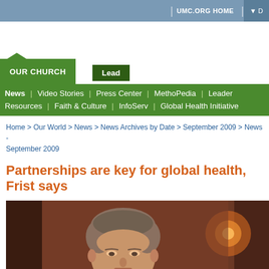UMC.ORG HOME
OUR CHURCH | Lead
News | Video Stories | Press Center | MethoPedia | Leader Resources | Faith & Culture | InfoServ | Global Health Initiative
Home > Our World > News > News Archives by Date > September 2009 > News - September 2009
Partnerships are key for global health, Frist says
[Figure (photo): Close-up photo of a man with short grey-brown hair against a warm brown/reddish background with a blurred orange light in the background right.]